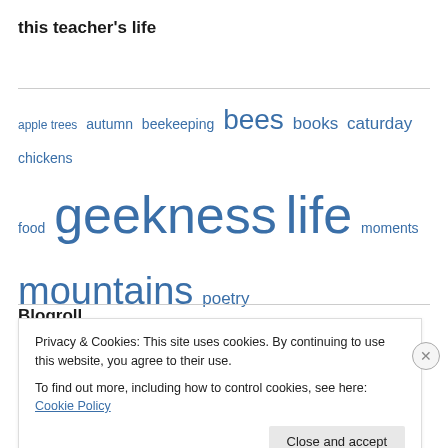this teacher's life
[Figure (infographic): Tag cloud with words of varying sizes in blue: apple trees, autumn, beekeeping, bees (large), books, caturday, chickens, food, geekness (very large), life (very large), moments, mountains, poetry, school (large), spring, stars, TV, Uncategorized, winter]
Blogroll
Privacy & Cookies: This site uses cookies. By continuing to use this website, you agree to their use.
To find out more, including how to control cookies, see here: Cookie Policy